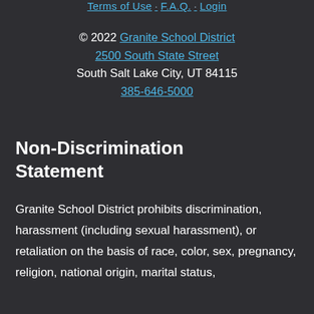Terms of Use · F.A.Q. · Login
© 2022 Granite School District
2500 South State Street
South Salt Lake City, UT 84115
385-646-5000
Non-Discrimination Statement
Granite School District prohibits discrimination, harassment (including sexual harassment), or retaliation on the basis of race, color, sex, pregnancy, religion, national origin, marital status,